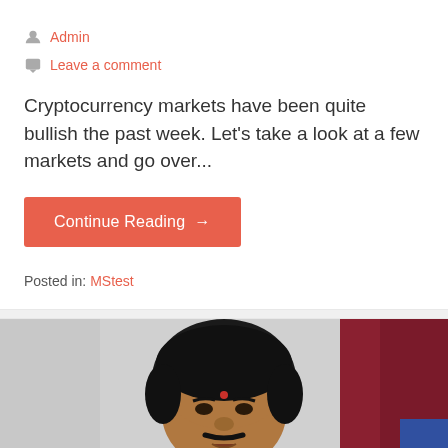Admin
Leave a comment
Cryptocurrency markets have been quite bullish the past week. Let's take a look at a few markets and go over...
Continue Reading →
Posted in: MStest
[Figure (photo): Portrait photograph of a man with dark hair and mustache, wearing a white shirt, with a bindi on forehead, blurred background with red and grey tones.]